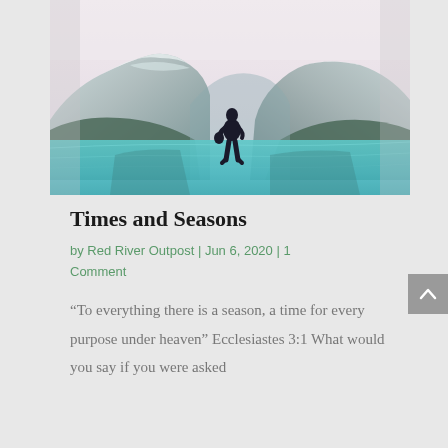[Figure (photo): A person standing at the edge of a vivid turquoise mountain lake, viewed from behind, with snow-capped mountains and misty peaks in the background. The sky is a pale pinkish-white.]
Times and Seasons
by Red River Outpost | Jun 6, 2020 | 1 Comment
“To everything there is a season, a time for every purpose under heaven” Ecclesiastes 3:1 What would you say if you were asked